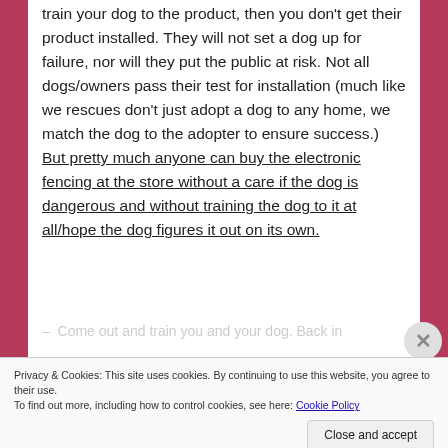train your dog to the product, then you don't get their product installed. They will not set a dog up for failure, nor will they put the public at risk. Not all dogs/owners pass their test for installation (much like we rescues don't just adopt a dog to any home, we match the dog to the adopter to ensure success.) But pretty much anyone can buy the electronic fencing at the store without a care if the dog is dangerous and without training the dog to it at all/hope the dog figures it out on its own.
Come out and train you and your dog. Back in...
Privacy & Cookies: This site uses cookies. By continuing to use this website, you agree to their use.
To find out more, including how to control cookies, see here: Cookie Policy